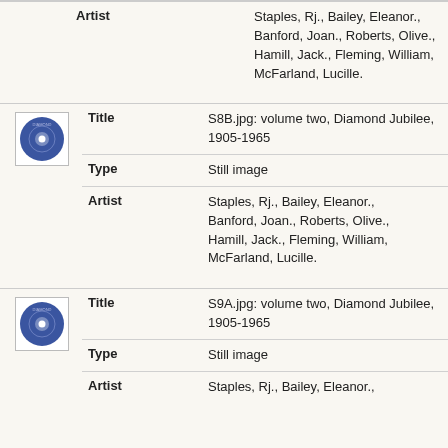| Field | Value |
| --- | --- |
| Artist | Staples, Rj., Bailey, Eleanor., Banford, Joan., Roberts, Olive., Hamill, Jack., Fleming, William, McFarland, Lucille. |
[Figure (photo): Blue vinyl record with white center label, thumbnail image]
| Field | Value |
| --- | --- |
| Title | S8B.jpg: volume two, Diamond Jubilee, 1905-1965 |
| Type | Still image |
| Artist | Staples, Rj., Bailey, Eleanor., Banford, Joan., Roberts, Olive., Hamill, Jack., Fleming, William, McFarland, Lucille. |
[Figure (photo): Blue vinyl record with white center label, thumbnail image]
| Field | Value |
| --- | --- |
| Title | S9A.jpg: volume two, Diamond Jubilee, 1905-1965 |
| Type | Still image |
| Artist | Staples, Rj., Bailey, Eleanor., |